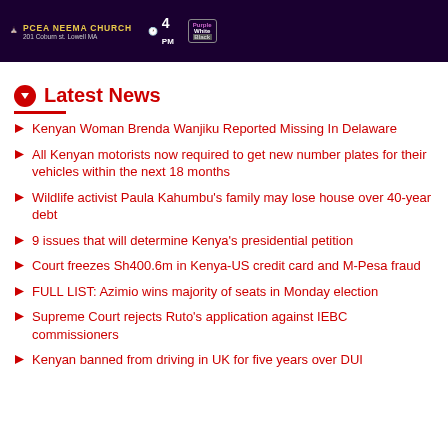[Figure (other): Dark purple banner advertisement for PCEA Neema Church event, 201 Coburn St. Lowell MA, 4 PM]
Latest News
Kenyan Woman Brenda Wanjiku Reported Missing In Delaware
All Kenyan motorists now required to get new number plates for their vehicles within the next 18 months
Wildlife activist Paula Kahumbu's family may lose house over 40-year debt
9 issues that will determine Kenya's presidential petition
Court freezes Sh400.6m in Kenya-US credit card and M-Pesa fraud
FULL LIST: Azimio wins majority of seats in Monday election
Supreme Court rejects Ruto's application against IEBC commissioners
Kenyan banned from driving in UK for five years over DUI